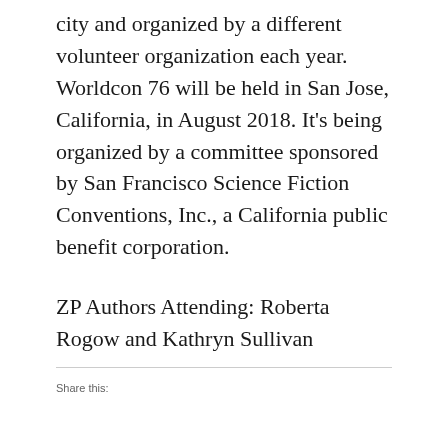city and organized by a different volunteer organization each year. Worldcon 76 will be held in San Jose, California, in August 2018. It's being organized by a committee sponsored by San Francisco Science Fiction Conventions, Inc., a California public benefit corporation.
ZP Authors Attending: Roberta Rogow and Kathryn Sullivan
Share this: